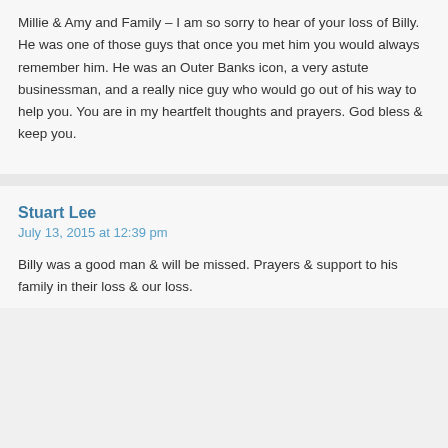Millie & Amy and Family – I am so sorry to hear of your loss of Billy. He was one of those guys that once you met him you would always remember him. He was an Outer Banks icon, a very astute businessman, and a really nice guy who would go out of his way to help you. You are in my heartfelt thoughts and prayers. God bless & keep you.
Stuart Lee
July 13, 2015 at 12:39 pm
Billy was a good man & will be missed. Prayers & support to his family in their loss & our loss.